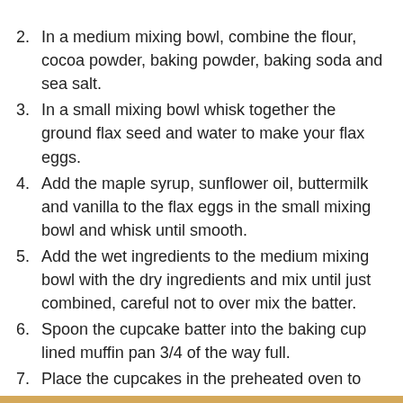2. In a medium mixing bowl, combine the flour, cocoa powder, baking powder, baking soda and sea salt.
3. In a small mixing bowl whisk together the ground flax seed and water to make your flax eggs.
4. Add the maple syrup, sunflower oil, buttermilk and vanilla to the flax eggs in the small mixing bowl and whisk until smooth.
5. Add the wet ingredients to the medium mixing bowl with the dry ingredients and mix until just combined, careful not to over mix the batter.
6. Spoon the cupcake batter into the baking cup lined muffin pan 3/4 of the way full.
7. Place the cupcakes in the preheated oven to bake 15-18 minutes. Cupcakes are ready when a toothpick inserted comes out clean.